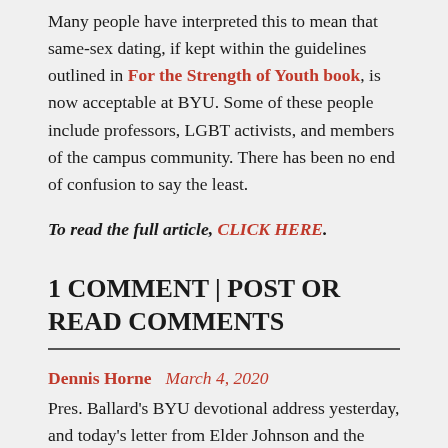Many people have interpreted this to mean that same-sex dating, if kept within the guidelines outlined in For the Strength of Youth book, is now acceptable at BYU. Some of these people include professors, LGBT activists, and members of the campus community. There has been no end of confusion to say the least.
To read the full article, CLICK HERE.
1 COMMENT | POST OR READ COMMENTS
Dennis Horne   March 4, 2020
Pres. Ballard's BYU devotional address yesterday, and today's letter from Elder Johnson and the Commissioner's office surely